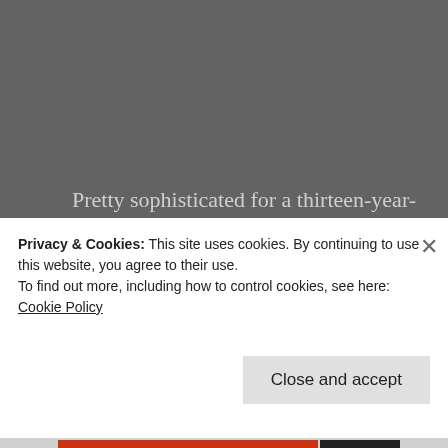Pretty sophisticated for a thirteen-year-old boy. Or for anyone, for that matter. Great imagery, great confidence and impressive rhythm. If I could, I would talk to him about the rhythm. That is the strength of the poem–but there are a few times where it needs to be tightened, where some minor tweaking would make it even better. But it is impressive nevertheless.
Privacy & Cookies: This site uses cookies. By continuing to use this website, you agree to their use.
To find out more, including how to control cookies, see here: Cookie Policy
Close and accept